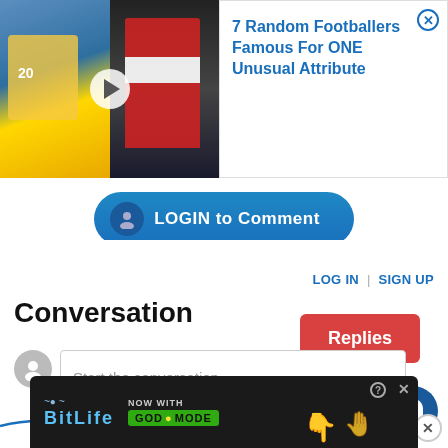[Figure (screenshot): Video thumbnail showing footballers with title 'Footballers Famous For One Unusual Attribute' and an overlay ad popup reading '7 Random Footballers Famous For ONE Unusual Attribute' with a blue close button]
LOGIN to Comment
LOG IN | SIGN UP
Conversation
Replies
Start the conversation
[Figure (screenshot): Bottom advertisement for BitLife 'NOW WITH GOD MODE']